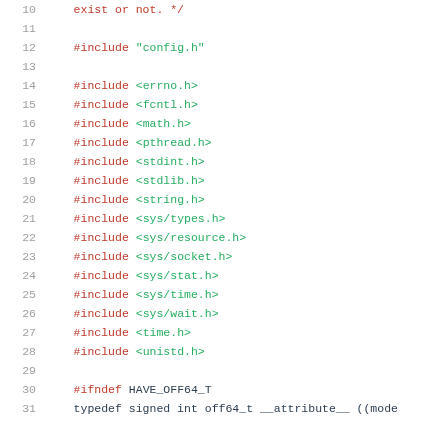Source code listing showing C include directives and preprocessor lines 10-31
[Figure (screenshot): C source code with line numbers 10-31 showing #include directives for config.h, errno.h, fcntl.h, math.h, pthread.h, stdint.h, stdlib.h, string.h, sys/types.h, sys/resource.h, sys/socket.h, sys/stat.h, sys/time.h, sys/wait.h, time.h, unistd.h, and #ifndef HAVE_OFF64_T with typedef signed int off64_t __attribute__ ((mode...]